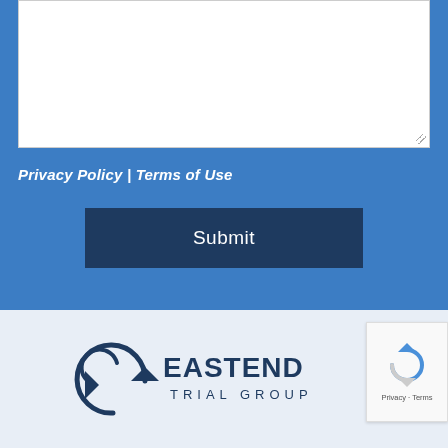[Figure (screenshot): White textarea input box with resize handle in bottom-right corner on blue background]
Privacy Policy | Terms of Use
Submit
[Figure (logo): East End Trial Group logo with circular arrow icon and bold text EASTEND TRIAL GROUP on light blue background]
[Figure (other): reCAPTCHA widget box showing recycling-arrows icon with Privacy and Terms links]